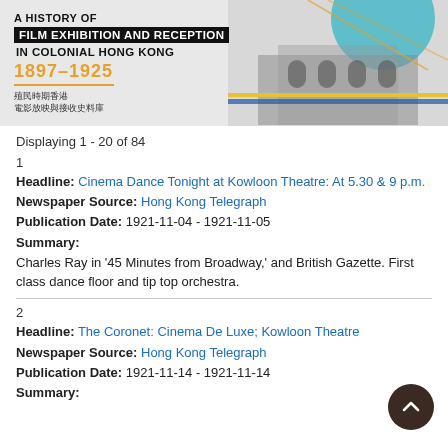[Figure (illustration): Banner image for 'A History of Film Exhibition and Reception in Colonial Hong Kong 1897–1925' with black and white building illustration on the right and a teal dome shape, overlaid with yellow/orange accent lines. Chinese text below the year.]
Displaying 1 - 20 of 84
1
Headline: Cinema Dance Tonight at Kowloon Theatre: At 5.30 & 9 p.m.
Newspaper Source: Hong Kong Telegraph
Publication Date: 1921-11-04 - 1921-11-05
Summary:
Charles Ray in '45 Minutes from Broadway,' and British Gazette. First class dance floor and tip top orchestra.
2
Headline: The Coronet: Cinema De Luxe; Kowloon Theatre
Newspaper Source: Hong Kong Telegraph
Publication Date: 1921-11-14 - 1921-11-14
Summary: